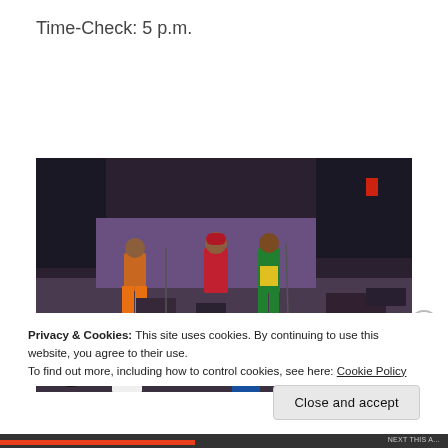Time-Check: 5 p.m.
[Figure (photo): Outdoor concert scene with three performers on a stage dressed in colorful outfits (orange pants, red sari, green suit), with a large crowd in the foreground and stage equipment in the background.]
Privacy & Cookies: This site uses cookies. By continuing to use this website, you agree to their use.
To find out more, including how to control cookies, see here: Cookie Policy
Close and accept